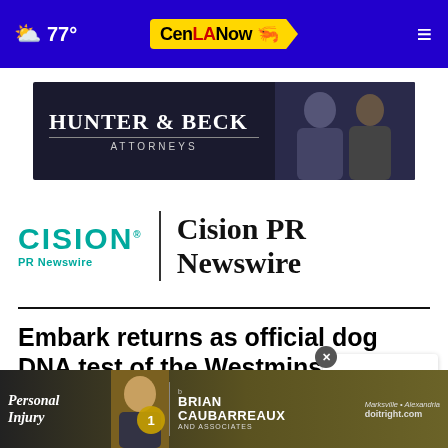77° CenLANow
[Figure (photo): Hunter & Beck Attorneys advertisement banner with dark background and two attorneys]
[Figure (logo): Cision PR Newswire logo with teal CISION wordmark and PR Newswire text, vertical divider, and bold PR Newswire heading text]
Embark returns as official dog DNA test of the Westminster Kennel Club Dog Show for the fou...
[Figure (logo): Embark logo with star icon and close button overlay]
[Figure (photo): Brian Caubarreaux and Associates Personal Injury attorneys advertisement banner]